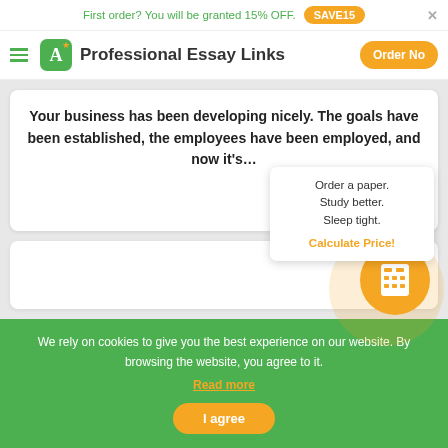First order? You will be granted 15% OFF. SAVE15
Professional Essay Links  Order Now
Your business has been developing nicely. The goals have been established, the employees have been employed, and now it's...
Order a paper. Study better. Sleep tight. Calculate Price!
We rely on cookies to give you the best experience on our website. By browsing the website, you agree to it. Read more
I agree